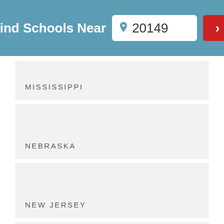Find Schools Near 20149
MISSISSIPPI
NEBRASKA
NEW JERSEY
NORTH CAROLINA
OKLAHOMA